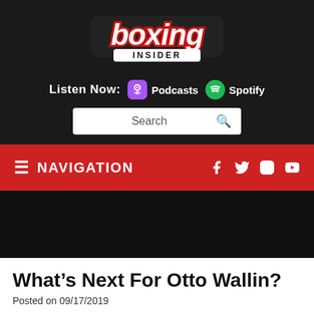[Figure (logo): Boxing Insider logo — stylized white italic text with red outline on dark background]
Listen Now:  Podcasts  Spotify
Search
≡ NAVIGATION
[Figure (photo): Dark/black image area below navigation bar]
What's Next For Otto Wallin?
Posted on 09/17/2019